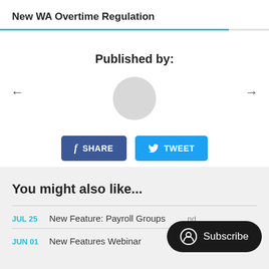New WA Overtime Regulation
Published by:
[Figure (illustration): A circular avatar placeholder (light gray circle) representing a user/author profile image, with left and right navigation arrows on either side]
SHARE  TWEET
You might also like...
JUL 25  New Feature: Payroll Groups  [truncated]
JUN 01  New Features Webinar  1 min read